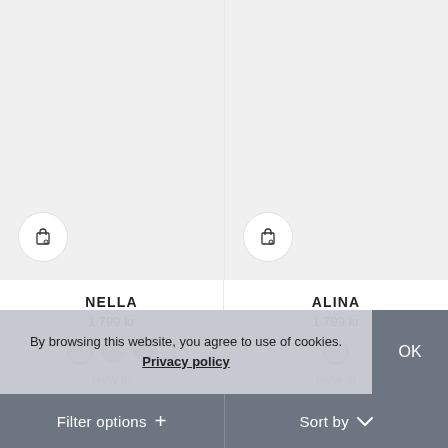[Figure (screenshot): Product image placeholder for NELLA, light grey background with shopping bag icon button]
[Figure (screenshot): Product image placeholder for ALINA, light grey background with shopping bag icon button]
NELLA
1 799 kr
New in
ALINA
1 799 kr
New in
[Figure (screenshot): Bottom of next product cards with heart/favourite icons]
By browsing this website, you agree to use of cookies. Privacy policy
OK
Filter options +
Sort by ∨